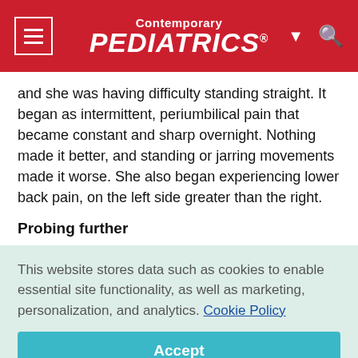Contemporary PEDIATRICS
and she was having difficulty standing straight. It began as intermittent, periumbilical pain that became constant and sharp overnight. Nothing made it better, and standing or jarring movements made it worse. She also began experiencing lower back pain, on the left side greater than the right.
Probing further
This website stores data such as cookies to enable essential site functionality, as well as marketing, personalization, and analytics. Cookie Policy
Accept
Deny